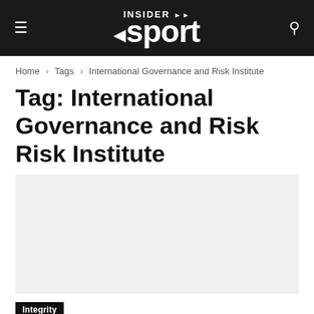INSIDER sport
Home › Tags › International Governance and Risk Institute
Tag: International Governance and Risk Institute
[Figure (photo): Article image placeholder (light grey)]
Integrity
GLMS: Unity crucial to tackling integrity in Brazilian sports